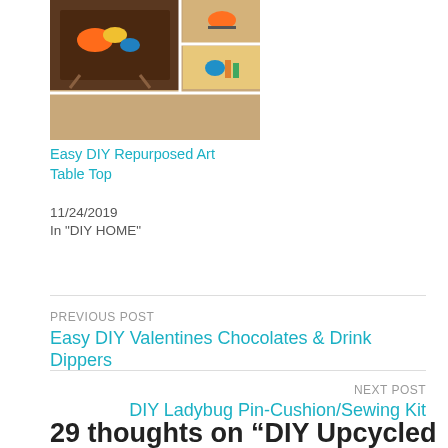[Figure (photo): A collage of images showing a DIY repurposed art table top with decorative items on it]
Easy DIY Repurposed Art Table Top
11/24/2019
In "DIY HOME"
PREVIOUS POST
Easy DIY Valentines Chocolates & Drink Dippers
NEXT POST
DIY Ladybug Pin-Cushion/Sewing Kit
29 thoughts on “DIY Upcycled